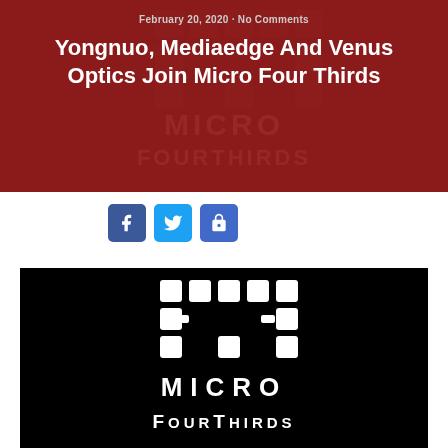February 20, 2020 · No Comments
Yongnuo, Mediaedge And Venus Optics Join Micro Four Thirds
[Figure (logo): Micro Four Thirds logo watermark in header background]
[Figure (infographic): Social share buttons: Facebook, Twitter, Share]
[Figure (logo): Micro Four Thirds logo on black background, showing the grid icon and MICRO FOURTHIRDS text in white]